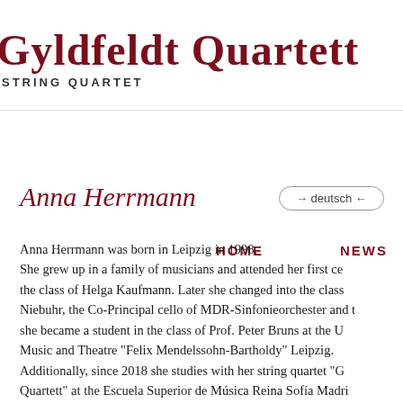Gyldfeldt Quartett
STRING QUARTET
HOME   NEWS
Anna Herrmann
→ deutsch ←
Anna Herrmann was born in Leipzig in 1998. She grew up in a family of musicians and attended her first ce the class of Helga Kaufmann. Later she changed into the class Niebuhr, the Co-Principal cello of MDR-Sinfonieorchester and t she became a student in the class of Prof. Peter Bruns at the U Music and Theatre "Felix Mendelssohn-Bartholdy" Leipzig. Additionally, since 2018 she studies with her string quartet "G Quartett" at the Escuela Superior de Música Reina Sofía Madri renowned string quartet class of Günter Pichler (Alban Berg Q